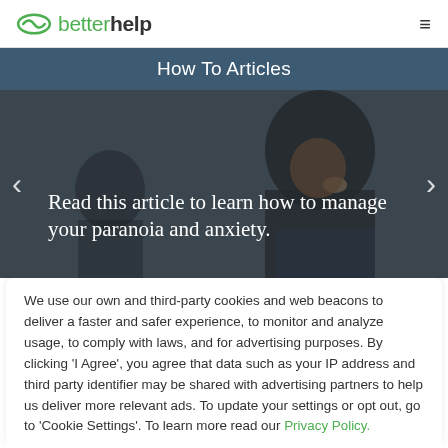betterhelp
How To Articles
[Figure (photo): Hero image of a young Black man looking serious, with article title overlay: 'Read this article to learn how to manage your paranoia and anxiety.']
We use our own and third-party cookies and web beacons to deliver a faster and safer experience, to monitor and analyze usage, to comply with laws, and for advertising purposes. By clicking 'I Agree', you agree that data such as your IP address and third party identifier may be shared with advertising partners to help us deliver more relevant ads. To update your settings or opt out, go to 'Cookie Settings'. To learn more read our Privacy Policy.